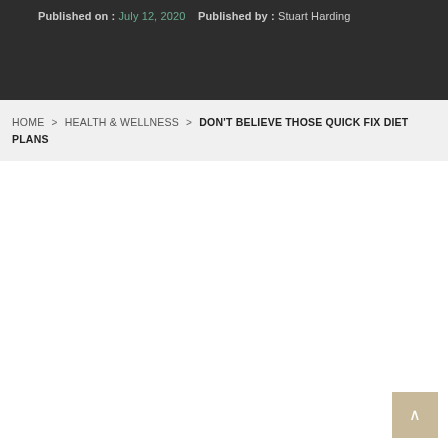Published on : July 12, 2020   Published by : Stuart Harding
HOME > HEALTH & WELLNESS > DON'T BELIEVE THOSE QUICK FIX DIET PLANS